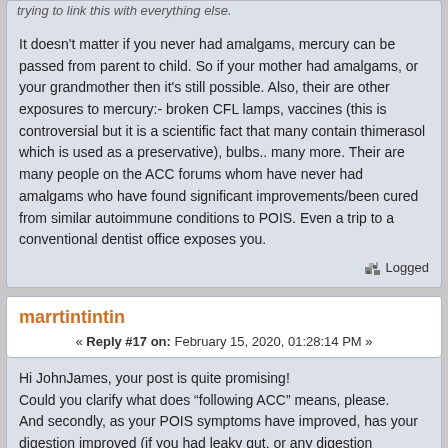trying to link this with everything else.
It doesn't matter if you never had amalgams, mercury can be passed from parent to child. So if your mother had amalgams, or your grandmother then it's still possible. Also, their are other exposures to mercury:- broken CFL lamps, vaccines (this is controversial but it is a scientific fact that many contain thimerasol which is used as a preservative), bulbs.. many more. Their are many people on the ACC forums whom have never had amalgams who have found significant improvements/been cured from similar autoimmune conditions to POIS. Even a trip to a conventional dentist office exposes you.
Logged
marrtintintin
« Reply #17 on: February 15, 2020, 01:28:14 PM »
Hi JohnJames, your post is quite promising!
Could you clarify what does “following ACC” means, please.
And secondly, as your POIS symptoms have improved, has your digestion improved (if you had leaky gut, or any digestion problem)?
Logged
So happy to be part of this community! Just a year ago, I was alone, nobody